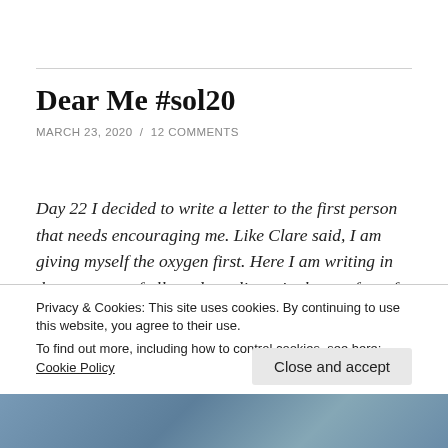Dear Me #sol20
MARCH 23, 2020 / 12 COMMENTS
Day 22 I decided to write a letter to the first person that needs encouraging me. Like Clare said, I am giving myself the oxygen first. Here I am writing in the company of all my dear slicers in the comfort of Two Writing Teachers. This is day 23 of the 31 day writing challenge.
Privacy & Cookies: This site uses cookies. By continuing to use this website, you agree to their use.
To find out more, including how to control cookies, see here: Cookie Policy
[Figure (photo): Photo strip at the bottom of the page showing a nature scene with trees]